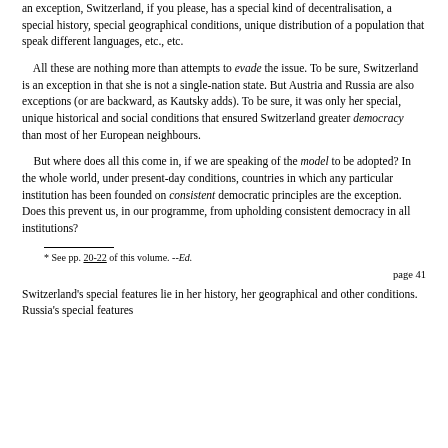an exception, Switzerland, if you please, has a special kind of decentralisation, a special history, special geographical conditions, unique distribution of a population that speak different languages, etc., etc.
All these are nothing more than attempts to evade the issue. To be sure, Switzerland is an exception in that she is not a single-nation state. But Austria and Russia are also exceptions (or are backward, as Kautsky adds). To be sure, it was only her special, unique historical and social conditions that ensured Switzerland greater democracy than most of her European neighbours.
But where does all this come in, if we are speaking of the model to be adopted? In the whole world, under present-day conditions, countries in which any particular institution has been founded on consistent democratic principles are the exception. Does this prevent us, in our programme, from upholding consistent democracy in all institutions?
* See pp. 20-22 of this volume. --Ed.
page 41
Switzerland's special features lie in her history, her geographical and other conditions. Russia's special features